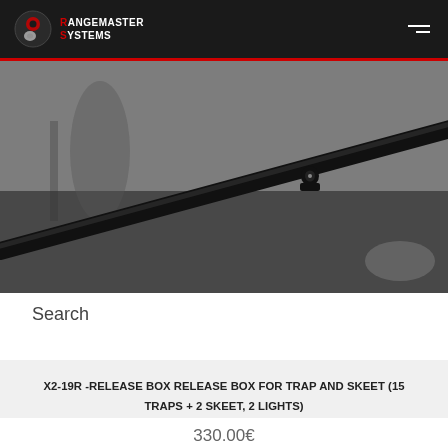Rangemaster Systems
[Figure (photo): Black and white close-up photo of a rifle/shotgun barrel and sight pointing diagonally, with blurred background of a shooting range.]
Search
X2-19R -RELEASE BOX RELEASE BOX FOR TRAP AND SKEET (15 TRAPS + 2 SKEET, 2 LIGHTS)
330.00€